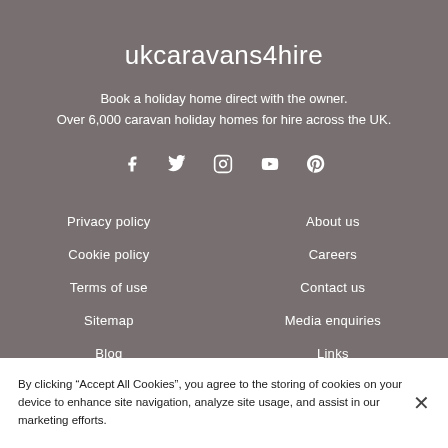ukcaravans4hire
Book a holiday home direct with the owner.
Over 6,000 caravan holiday homes for hire across the UK.
[Figure (other): Social media icons: Facebook, Twitter, Instagram, YouTube, Pinterest]
Privacy policy
Cookie policy
Terms of use
Sitemap
Blog
About us
Careers
Contact us
Media enquiries
Links
By clicking “Accept All Cookies”, you agree to the storing of cookies on your device to enhance site navigation, analyze site usage, and assist in our marketing efforts.